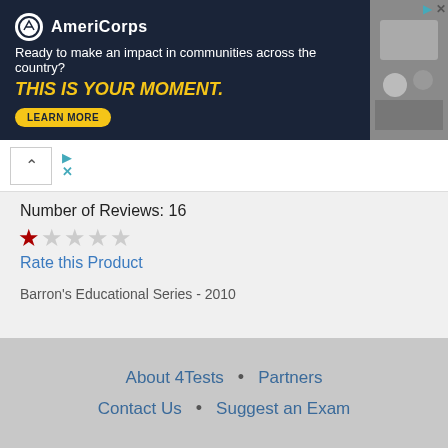[Figure (screenshot): AmeriCorps advertisement banner with dark navy background. Logo, tagline 'Ready to make an impact in communities across the country?', bold yellow text 'THIS IS YOUR MOMENT.', and a LEARN MORE button. Photo of students on the right.]
Number of Reviews: 16
[Figure (other): Star rating showing 1 filled red star and 4 empty gray stars]
Rate this Product
Barron's Educational Series - 2010
[Figure (other): Three social media icons: Facebook (blue), Google+ (red), Twitter (light blue)]
About 4Tests • Partners
Contact Us • Suggest an Exam